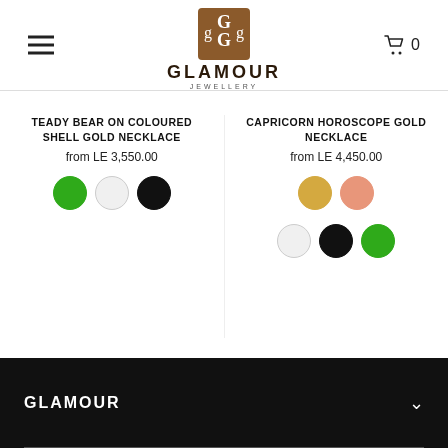[Figure (logo): Glamour Jewellery logo with ornate brown square icon and text GLAMOUR JEWELLERY]
TEADY BEAR ON COLOURED SHELL GOLD NECKLACE
from LE 3,550.00
CAPRICORN HOROSCOPE GOLD NECKLACE
from LE 4,450.00
GLAMOUR